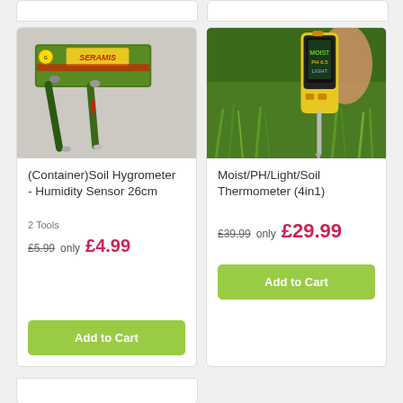[Figure (photo): Partial view of top product cards (cropped at top of page)]
[Figure (photo): Seramis brand soil hygrometer - humidity sensor 26cm product image showing green measurement probes and product box]
(Container)Soil Hygrometer - Humidity Sensor 26cm
2 Tools
£5.99  only  £4.99
Add to Cart
[Figure (photo): Moist/PH/Light/Soil Thermometer 4in1 product image showing yellow digital meter inserted into grass/soil]
Moist/PH/Light/Soil Thermometer (4in1)
£39.99  only  £29.99
Add to Cart
[Figure (photo): Partial view of bottom product card (cropped at bottom of page)]